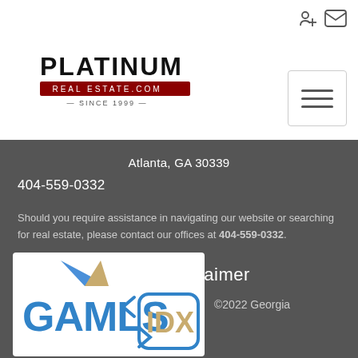[Figure (logo): Platinum Real Estate .com Since 1999 logo with red underline bar]
Atlanta, GA 30339
404-559-0332
Should you require assistance in navigating our website or searching for real estate, please contact our offices at 404-559-0332.
MLS® Disclaimer
[Figure (logo): GAMLS IDX logo — blue GAMLS text with gold/blue IDX badge and house roof graphic]
©2022 Georgia